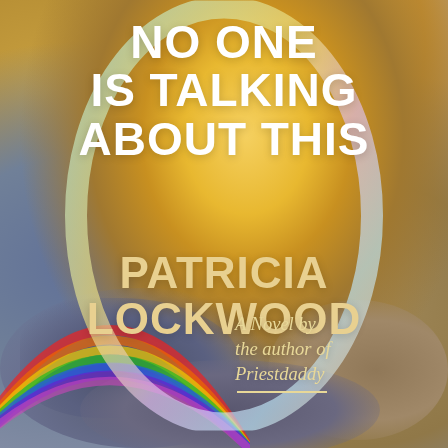[Figure (illustration): Book cover for 'No One Is Talking About This' by Patricia Lockwood. Background is a dramatic sky scene with golden-yellow sunlit clouds and darker storm clouds, with a rainbow visible on the left side. A large iridescent/holographic oval ring overlays the center. Bold white title text appears at the top center, the author's name in gold below, and a handwritten-style italic subtitle in gold at the lower right reading 'A Novel by the author of Priestdaddy' with a dash underline.]